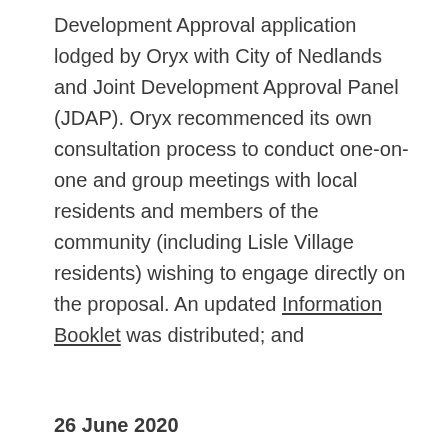Development Approval application lodged by Oryx with City of Nedlands and Joint Development Approval Panel (JDAP). Oryx recommenced its own consultation process to conduct one-on-one and group meetings with local residents and members of the community (including Lisle Village residents) wishing to engage directly on the proposal. An updated Information Booklet was distributed; and
26 June 2020
City of Nedlands' opens the 21-day statutory public advertising and submission period for the Development Approval including publication of FAQs.